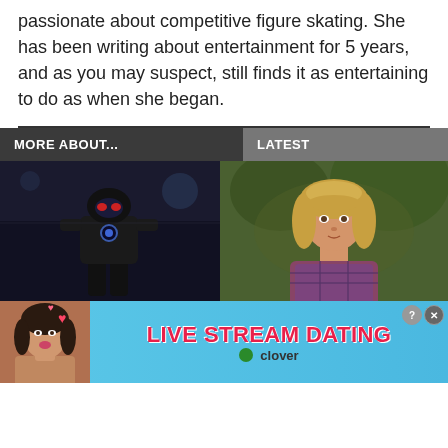passionate about competitive figure skating. She has been writing about entertainment for 5 years, and as you may suspect, still finds it as entertaining to do as when she began.
MORE ABOUT...
LATEST
[Figure (photo): A person in a dark superhero suit (Captain America-like costume) in a dark indoor setting]
[Figure (photo): A woman with blonde wavy hair wearing a plaid shirt, standing outdoors with green foliage in background]
[Figure (infographic): Advertisement banner for 'LIVE STREAM DATING' by Clover, with a young woman and hearts on cyan/blue background]